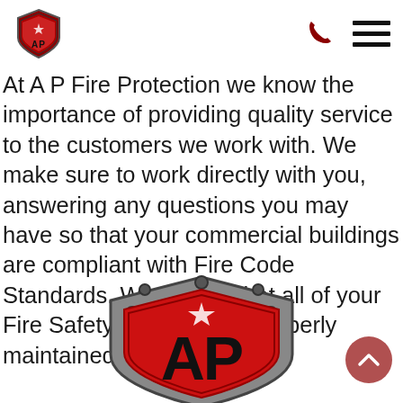[Figure (logo): AP Fire Protection shield logo in header, small version]
[Figure (logo): Phone icon and hamburger menu icon in header]
At A P Fire Protection we know the importance of providing quality service to the customers we work with. We make sure to work directly with you, answering any questions you may have so that your commercial buildings are compliant with Fire Code Standards. We ensure that all of your Fire Safety Systems are properly maintained and serviced.
[Figure (logo): AP Fire Protection large shield logo at bottom center]